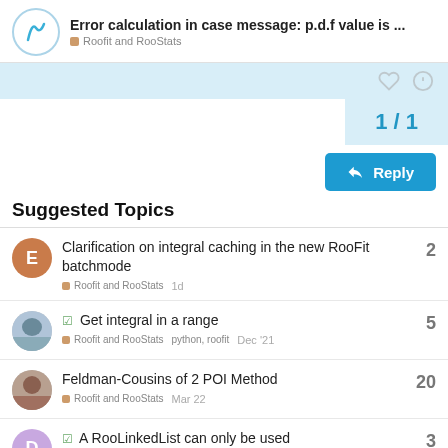Error calculation in case message: p.d.f value is ... — Roofit and RooStats
1 / 1
Reply
Suggested Topics
Clarification on integral caching in the new RooFit batchmode
Roofit and RooStats
2
1d
✓ Get integral in a range
Roofit and RooStats  python, roofit
5
Dec '21
Feldman-Cousins of 2 POI Method
Roofit and RooStats
20
Mar 22
✓ A RooLinkedList can only be used once?
3